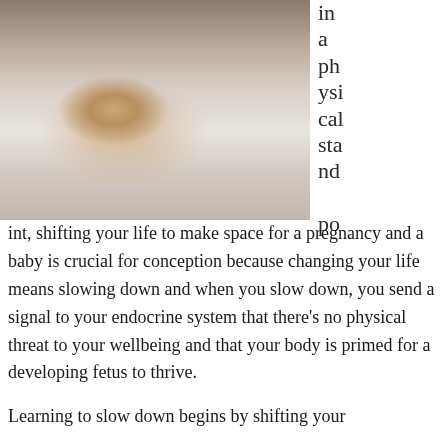[Figure (photo): A blonde woman lying face-down on a white bed, wearing a white striped top, viewed from above and to the side.]
in a physical standpoint, shifting your life to make space for a pregnancy and a baby is crucial for conception because changing your life means slowing down and when you slow down, you send a signal to your endocrine system that there's no physical threat to your wellbeing and that your body is primed for a developing fetus to thrive.
Learning to slow down begins by shifting your